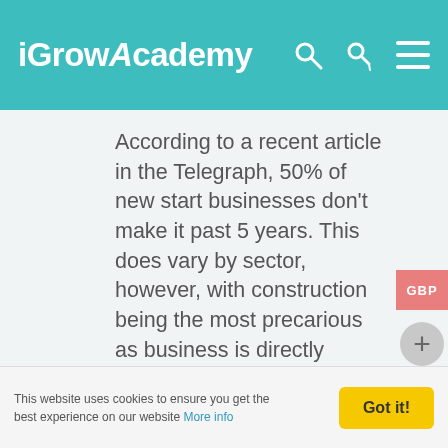iGrowAcademy
According to a recent article in the Telegraph, 50% of new start businesses don't make it past 5 years. This does vary by sector, however, with construction being the most precarious as business is directly proportional to the state of the economy which cycles between boom and bust regularly. UK small businesses when interviewed blame unhelpful economic factors which include, the tax system which does not give breaks or incentives for new starts as well as it could. The banking system, while perfectly willing to gamble
This website uses cookies to ensure you get the best experience on our website More info   Got it!